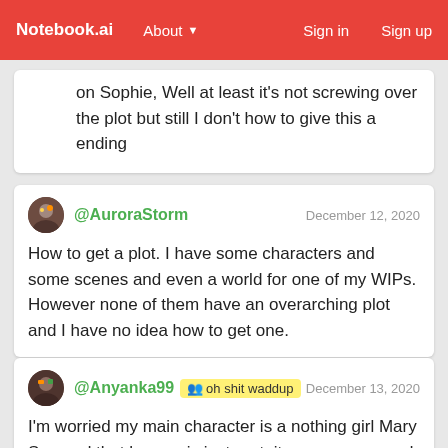Notebook.ai   About ▼   Sign in   Sign up
on Sophie, Well at least it's not screwing over the plot but still I don't how to give this a ending
@AuroraStorm   December 12, 2020
How to get a plot. I have some characters and some scenes and even a world for one of my WIPs. However none of them have an overarching plot and I have no idea how to get one.
@Anyanka99  oh shit waddup   December 13, 2020
I'm worried my main character is a nothing girl Mary Sue and that her arc is just gratuitous romance and i